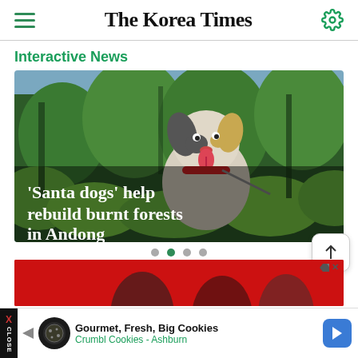The Korea Times
Interactive News
[Figure (photo): A white and black dog with tongue out, set among green forest vegetation, with overlay text: 'Santa dogs' help rebuild burnt forests in Andong]
'Santa dogs' help rebuild burnt forests in Andong
[Figure (photo): Red advertisement banner with partial faces visible]
[Figure (photo): Bottom banner advertisement for Crumbl Cookies - Ashburn: Gourmet, Fresh, Big Cookies]